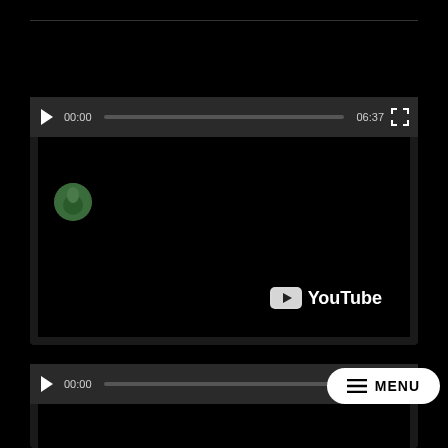[Figure (screenshot): YouTube video player 1 showing a paused video at 00:00 with total duration 06:37. The player has a dark controls bar with play button, progress bar, timestamps, and fullscreen button. A YouTube logo watermark is visible in the bottom-right of the video area. A circular channel icon is visible in the top-left of the video content area.]
[Figure (screenshot): YouTube video player 2 (partially visible) showing a paused video at 00:00 with total duration 02:09. A white MENU button with hamburger icon is overlaid in the top-right area of the player.]